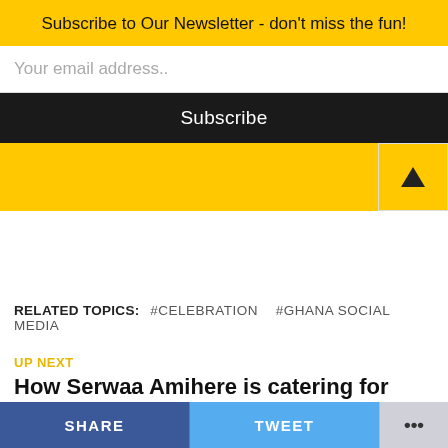Subscribe to Our Newsletter - don't miss the fun!
Your email address..
Subscribe
RELATED TOPICS: #CELEBRATION  #GHANA SOCIAL MEDIA
UP NEXT
How Serwaa Amihere is catering for corporate women with her new clothing brand
DON'T MISS
MaYaa Cuts Off Her Hair: New Look Outdoored At VGMAs
SHARE  TWEET  ...